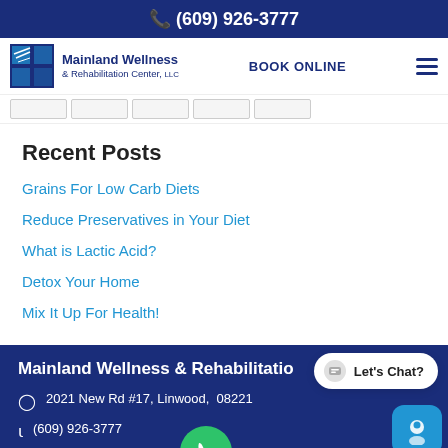(609) 926-3777
[Figure (logo): Mainland Wellness & Rehabilitation Center, LLC logo with navigation bar including BOOK ONLINE link and hamburger menu]
Recent Posts
Grains For Low Carb Diets
Reduce Preservatives in Your Diet
What is Lactic Acid?
Detox Your Home
Mix It Up For Health!
Mainland Wellness & Rehabilitation
2021 New Rd #17, Linwood, NJ 08221
(609) 926-3777